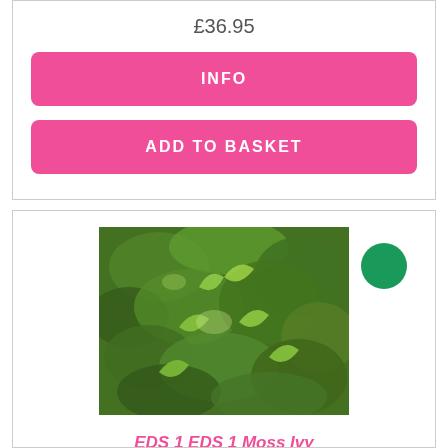£36.95
INFO
ADD TO BASKET
[Figure (photo): Photo of moss and ivy plants on a rocky surface, lush green foliage]
EDS 1 EDS 1 Moss Ivy
'EDS 1 MOSS IVY IS A POWERFUL